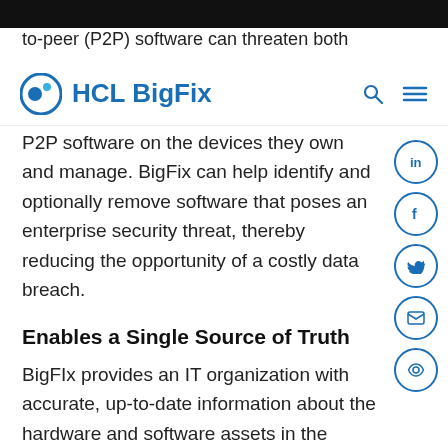to-peer (P2P) software can threaten both
[Figure (logo): HCL BigFix logo with circular blue icon and text]
P2P software on the devices they own and manage. BigFix can help identify and optionally remove software that poses an enterprise security threat, thereby reducing the opportunity of a costly data breach.
Enables a Single Source of Truth
BigFIx provides an IT organization with accurate, up-to-date information about the hardware and software assets in the enterprise. A single source of truth is extremely valuable. In many organizations, the configuration management database